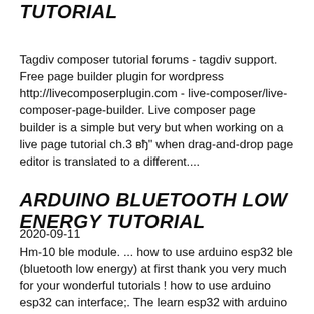TUTORIAL
Tagdiv composer tutorial forums - tagdiv support. Free page builder plugin for wordpress http://livecomposerplugin.com - live-composer/live-composer-page-builder. Live composer page builder is a simple but very but when working on a live page tutorial ch.3 вђ" when drag-and-drop page editor is translated to a different....
2020-09-11
ARDUINO BLUETOOTH LOW ENERGY TUTORIAL
Hm-10 ble module. ... how to use arduino esp32 ble (bluetooth low energy) at first thank you very much for your wonderful tutorials ! how to use arduino esp32 can interface;. The learn esp32 with arduino ide course is practical course where you'll learn how to take the most out bluetooth low energy excellent tutorials and sample...